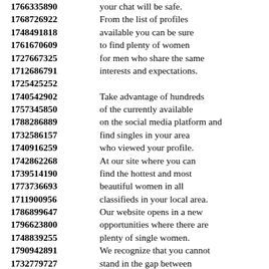1766335890 your chat will be safe. 1768726922 From the list of profiles 1748491818 available you can be sure 1761670609 to find plenty of women 1727667325 for men who share the same 1712686791 interests and expectations. 1725425252 1740542902 Take advantage of hundreds 1757345850 of the currently available 1788286889 on the social media platform and 1732586157 find singles in your area 1740916259 who viewed your profile. 1742862268 At our site where you can 1739514190 find the hottest and most 1773736693 beautiful women in all 1711900956 classifieds in your local area. 1786899647 Our website opens in a new 1796623800 opportunities where there are 1748839255 plenty of single women. 1790942891 We recognize that you cannot 1732779727 stand in the gap between 1764906246 hundreds of women and girls 1755378757 as you look for your dream. 1735648803 We are making it easy for you 1722700207 to find women seeking men 1754841373 ...